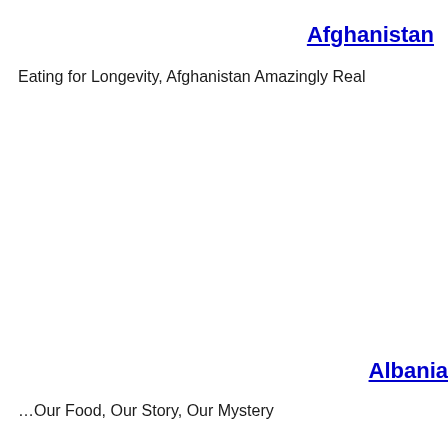Afghanistan
Eating for Longevity, Afghanistan Amazingly Real
Albania
…Our Food, Our Story, Our Mystery